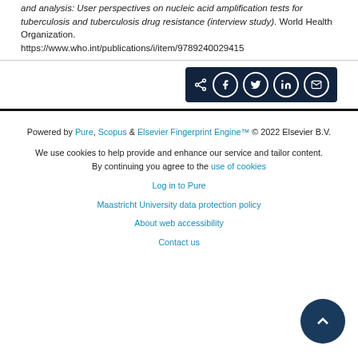and analysis: User perspectives on nucleic acid amplification tests for tuberculosis and tuberculosis drug resistance (interview study). World Health Organization. https://www.who.int/publications/i/item/9789240029415
[Figure (other): Share bar with dark navy background containing a share icon and four social media icon buttons: Facebook, Twitter, LinkedIn, and Email]
Powered by Pure, Scopus & Elsevier Fingerprint Engine™ © 2022 Elsevier B.V. We use cookies to help provide and enhance our service and tailor content. By continuing you agree to the use of cookies Log in to Pure Maastricht University data protection policy About web accessibility Contact us